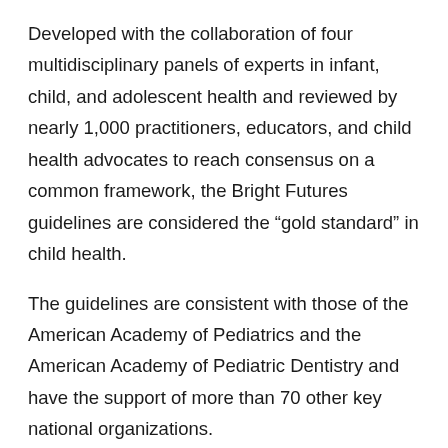Developed with the collaboration of four multidisciplinary panels of experts in infant, child, and adolescent health and reviewed by nearly 1,000 practitioners, educators, and child health advocates to reach consensus on a common framework, the Bright Futures guidelines are considered the "gold standard" in child health.
The guidelines are consistent with those of the American Academy of Pediatrics and the American Academy of Pediatric Dentistry and have the support of more than 70 other key national organizations.
Bright Futures Supporting Organizations
[Figure (logo): Small sun/rays logo icon followed by bold letter A]